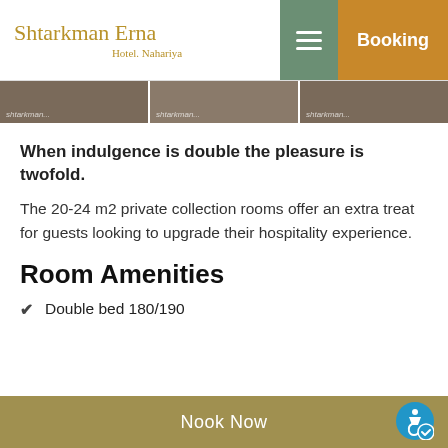Shtarkman Erna Hotel. Nahariya — Booking
[Figure (photo): Three cropped room photos in a horizontal strip]
When indulgence is double the pleasure is twofold.
The 20-24 m2 private collection rooms offer an extra treat for guests looking to upgrade their hospitality experience.
Room Amenities
Double bed 180/190
Nook Now